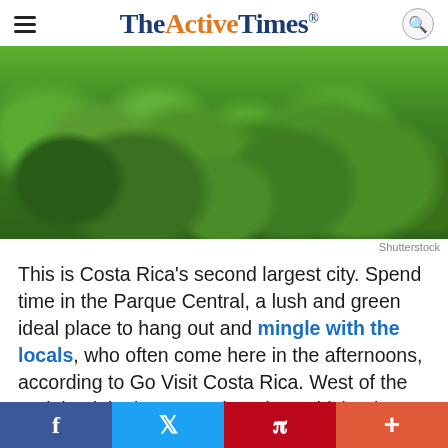TheActiveTimes
[Figure (photo): Large photo of lush green topiary or moss-covered rounded sculptures in a park, with buildings visible in the background.]
Shutterstock
This is Costa Rica’s second largest city. Spend time in the Parque Central, a lush and green ideal place to hang out and mingle with the locals, who often come here in the afternoons, according to Go Visit Costa Rica. West of the park is Alajuela’s central market, which takes up an entire city block and is a great place to shop. Another tourist attraction is the Juan [Santa...]
f  🐦  p  +